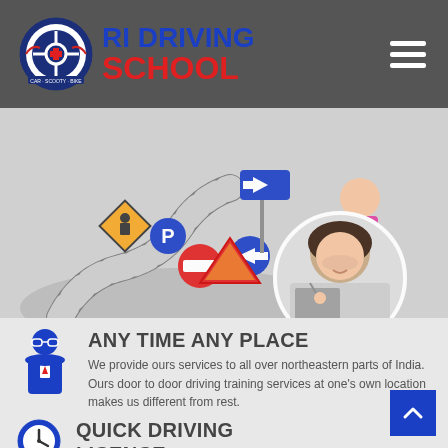RI DRIVING SCHOOL
[Figure (illustration): Hero illustration showing road signs, traffic signs, a woman in pink skirt, and a circular photo of a young woman holding car keys]
[Figure (illustration): Blue icon of a person in suit with glasses]
ANY TIME ANY PLACE
We provide ours services to all over northeastern parts of India. Ours door to door driving training services at one's own location makes us different from rest.
[Figure (illustration): Blue clock/steering wheel icon]
QUICK DRIVING LICENCE